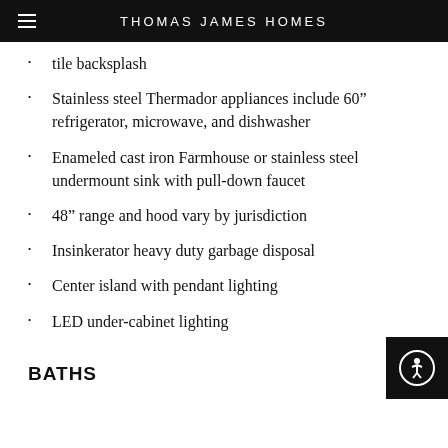THOMAS JAMES HOMES
tile backsplash
Stainless steel Thermador appliances include 60” refrigerator, microwave, and dishwasher
Enameled cast iron Farmhouse or stainless steel undermount sink with pull-down faucet
48” range and hood vary by jurisdiction
Insinkerator heavy duty garbage disposal
Center island with pendant lighting
LED under-cabinet lighting
BATHS